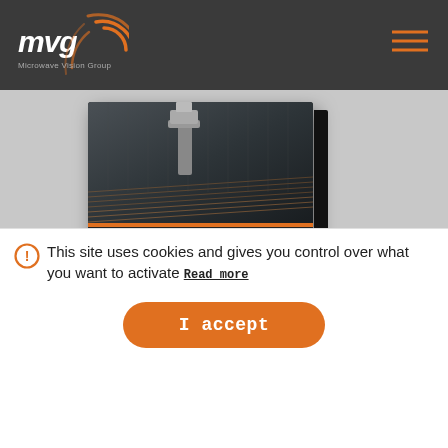[Figure (logo): MVG Microwave Vision Group logo — white MVG letters with orange arc/signal graphic, on dark grey background]
[Figure (screenshot): Website screenshot showing MVG product brochure for Positioners and Controllers with a carousel navigation (left/right arrows), dark grey header with hamburger menu, and a cookie consent banner overlay at the bottom]
Positioners and Controllers
This site uses cookies and gives you control over what you want to activate Read more
I accept